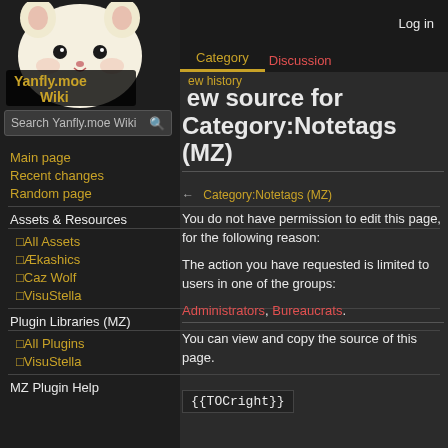Log in
[Figure (logo): Yanfly.moe Wiki logo with hamster mascot and text overlay 'Yanfly.moe Wiki']
Search Yanfly.moe Wiki
Category  Discussion
View history
View source for Category:Notetags (MZ)
← Category:Notetags (MZ)
You do not have permission to edit this page, for the following reason:
The action you have requested is limited to users in one of the groups:
Administrators, Bureaucrats.
You can view and copy the source of this page.
{{TOCright}}
Main page
Recent changes
Random page
Assets & Resources
□All Assets
□Ækashics
□Caz Wolf
□VisuStella
Plugin Libraries (MZ)
□All Plugins
□VisuStella
MZ Plugin Help